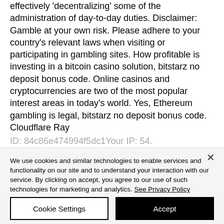effectively 'decentralizing' some of the administration of day-to-day duties. Disclaimer: Gamble at your own risk. Please adhere to your country's relevant laws when visiting or participating in gambling sites. How profitable is investing in a bitcoin casino solution, bitstarz no deposit bonus code. Online casinos and cryptocurrencies are two of the most popular interest areas in today's world. Yes, Ethereum gambling is legal, bitstarz no deposit bonus code. Cloudflare Ray ID: 84c86e474994f5dc1Your IP: 54...
We use cookies and similar technologies to enable services and functionality on our site and to understand your interaction with our service. By clicking on accept, you agree to our use of such technologies for marketing and analytics. See Privacy Policy
Cookie Settings
Accept